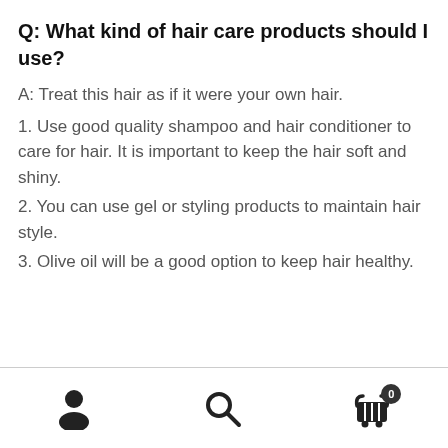Q: What kind of hair care products should I use?
A: Treat this hair as if it were your own hair.
1. Use good quality shampoo and hair conditioner to care for hair. It is important to keep the hair soft and shiny.
2. You can use gel or styling products to maintain hair style.
3. Olive oil will be a good option to keep hair healthy.
Navigation bar with person, search, and cart (0) icons